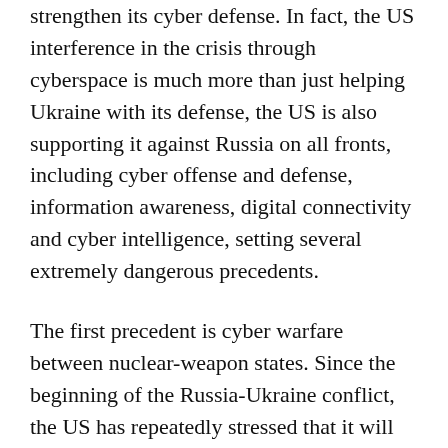strengthen its cyber defense. In fact, the US interference in the crisis through cyberspace is much more than just helping Ukraine with its defense, the US is also supporting it against Russia on all fronts, including cyber offense and defense, information awareness, digital connectivity and cyber intelligence, setting several extremely dangerous precedents.
The first precedent is cyber warfare between nuclear-weapon states. Since the beginning of the Russia-Ukraine conflict, the US has repeatedly stressed that it will not be engaged in an armed conflict with Russia and has refrained from establishing a no-fly zone and test-launching intercontinental ballistic missiles. This indicates US clear understanding of the possibility of escalating the situation and even triggering a nuclear war with Russia. However, at the same time, the US is